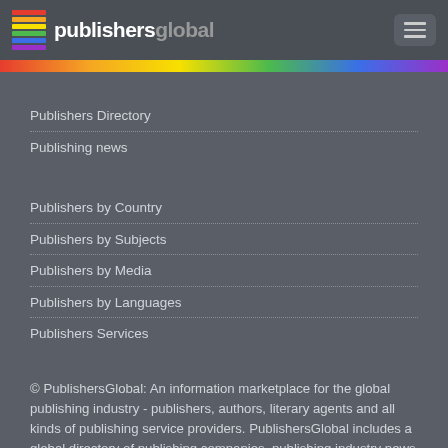publishersglobal
Publishers Directory
Publishing news
Publishers by Country
Publishers by Subjects
Publishers by Media
Publishers by Languages
Publishers Services
© PublishersGlobal: An information marketplace for the global publishing industry - publishers, authors, literary agents and all kinds of publishing service providers. PublishersGlobal includes a global directory of publishing companies, publishing industry news and events.